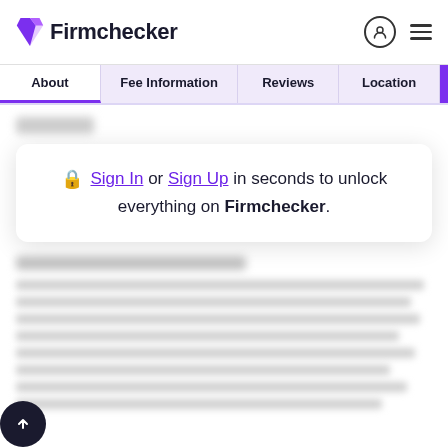Firmchecker
About | Fee Information | Reviews | Location
Sign In or Sign Up in seconds to unlock everything on Firmchecker.
[Blurred content section - locked behind sign-in]